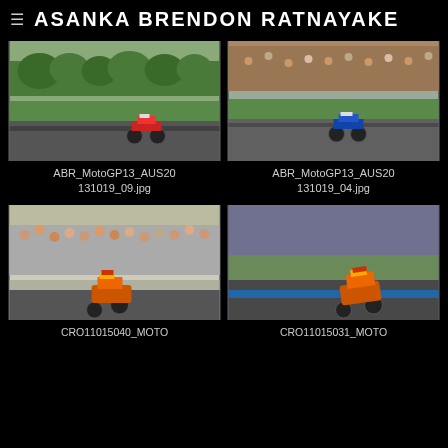ASANKA BRENDON RATNAYAKE
[Figure (photo): MotoGP motorcycle racing on track with trees in background, red/white motorcycle on track]
[Figure (photo): MotoGP motorcycle racing with crowd in background, blue/white motorcycle on track]
ABR_MotoGP13_AUS20 131019_09.jpg
ABR_MotoGP13_AUS20 131019_04.jpg
[Figure (photo): MotoGP rider on Repsol Honda wheelie with crowd celebrating in background]
[Figure (photo): MotoGP rider on Repsol Honda leaning into corner on track]
CRO11015040_MOTO
CRO11015031_MOTO